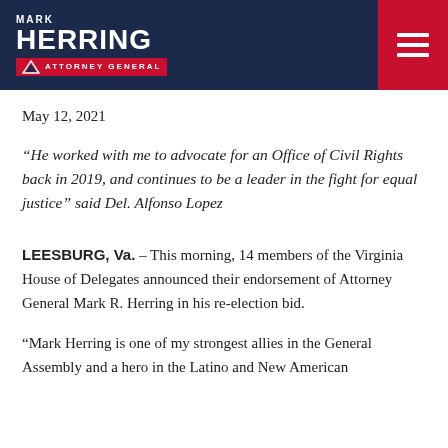[Figure (logo): Mark Herring Attorney General campaign logo on dark navy header with red hamburger menu icon]
May 12, 2021
“He worked with me to advocate for an Office of Civil Rights back in 2019, and continues to be a leader in the fight for equal justice” said Del. Alfonso Lopez
LEESBURG, Va. – This morning, 14 members of the Virginia House of Delegates announced their endorsement of Attorney General Mark R. Herring in his re-election bid.
“Mark Herring is one of my strongest allies in the General Assembly and a hero in the Latino and New American